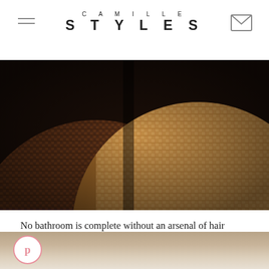CAMILLE STYLES
[Figure (photo): Close-up photo of two woven baskets with different weave textures — a tighter dark brown weave on the left and a looser natural fiber weave on the right — photographed against a dark background.]
No bathroom is complete without an arsenal of hair tools, so we devoted one of our four woven baskets to storing a hair dryer, flat iron and curling iron.
3 OF 13